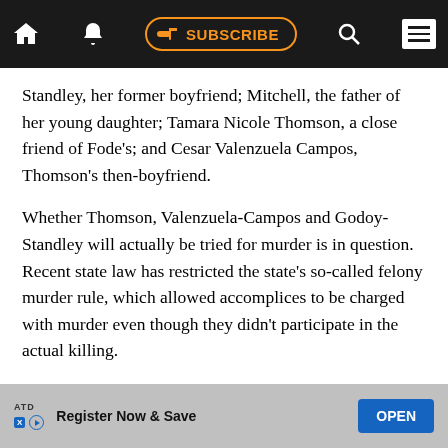SUBSCRIBE
Standley, her former boyfriend; Mitchell, the father of her young daughter; Tamara Nicole Thomson, a close friend of Fode’s; and Cesar Valenzuela Campos, Thomson’s then-boyfriend.
Whether Thomson, Valenzuela-Campos and Godoy-Standley will actually be tried for murder is in question. Recent state law has restricted the state’s so-called felony murder rule, which allowed accomplices to be charged with murder even though they didn’t participate in the actual killing.
At a recent hearing Deputy Public Defender Casey Russo, representing Valenzuela-Campos, said he and Deputy District Attorney Carolyn Schaffer are
ATD  Register Now & Save  OPEN